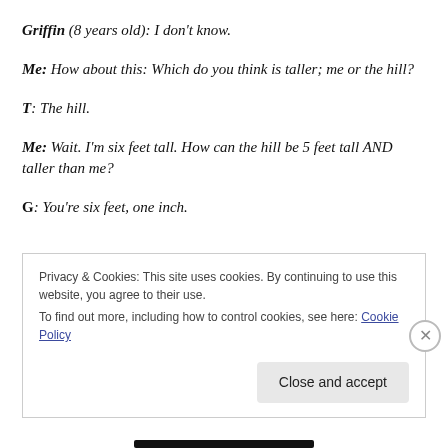Griffin (8 years old): I don't know.
Me: How about this: Which do you think is taller; me or the hill?
T: The hill.
Me: Wait. I'm six feet tall. How can the hill be 5 feet tall AND taller than me?
G: You're six feet, one inch.
Privacy & Cookies: This site uses cookies. By continuing to use this website, you agree to their use.
To find out more, including how to control cookies, see here: Cookie Policy